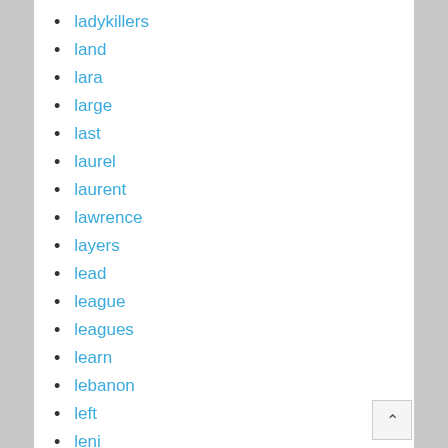ladykillers
land
lara
large
last
laurel
laurent
lawrence
layers
lead
league
leagues
learn
lebanon
left
leni
leon